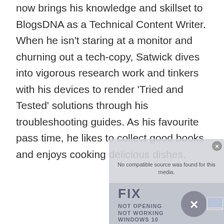now brings his knowledge and skillset to BlogsDNA as a Technical Content Writer. When he isn't staring at a monitor and churning out a tech-copy, Satwick dives into vigorous research work and tinkers with his devices to render 'Tried and Tested' solutions through his troubleshooting guides. As his favourite pass time, he likes to collect good books and enjoys cooking delicious dishes.
[Figure (screenshot): A semi-transparent video overlay showing 'No compatible source was found for this media.' message, overlapping with a background image of a tech article thumbnail showing 'FIX NOT OPENING NOT WORKING WINDOWS 10' with an X icon.]